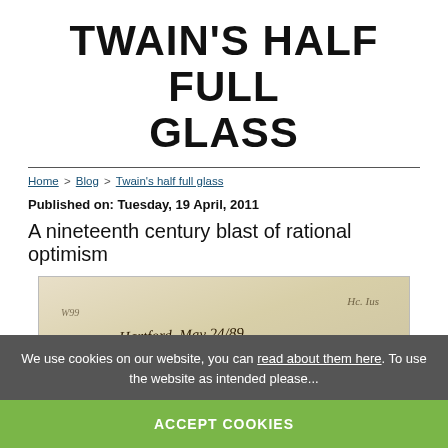TWAIN'S HALF FULL GLASS
Home > Blog > Twain's half full glass
Published on: Tuesday, 19 April, 2011
A nineteenth century blast of rational optimism
[Figure (photo): Handwritten manuscript letter showing cursive text: 'Hartford, May 24/89' and 'To Walt Whitman:']
We use cookies on our website, you can read about them here. To use the website as intended please...
ACCEPT COOKIES